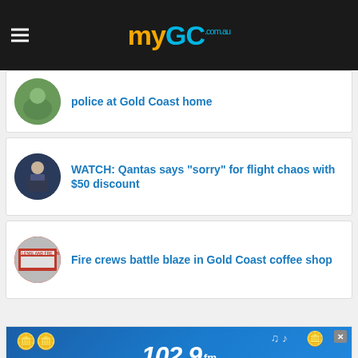myGC.com.au
police at Gold Coast home
WATCH: Qantas says "sorry" for flight chaos with $50 discount
Fire crews battle blaze in Gold Coast coffee shop
[Figure (other): 102.9 fm radio advertisement banner with gold coins and music notes on blue background]
[Figure (other): Andersens carpet advertisement - Enjoy FREE installation on all Solution Dyed Nylon carpet. FREE MEASURE & QUOTE]